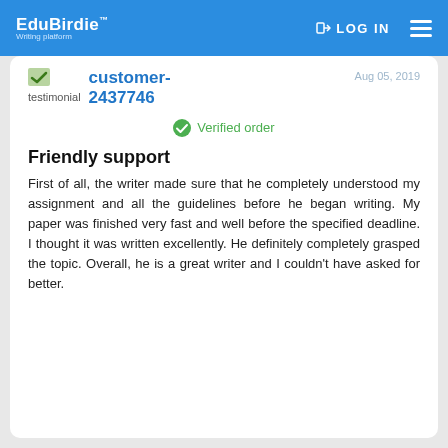EduBirdie™ Writing platform | LOG IN
testimonial | customer-2437746 | Aug 05, 2019
✔ Verified order
Friendly support
First of all, the writer made sure that he completely understood my assignment and all the guidelines before he began writing. My paper was finished very fast and well before the specified deadline. I thought it was written excellently. He definitely completely grasped the topic. Overall, he is a great writer and I couldn't have asked for better.